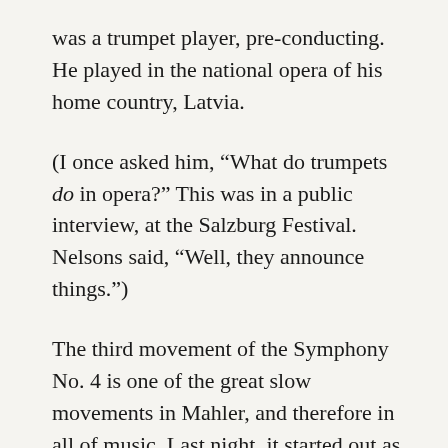was a trumpet player, pre-conducting. He played in the national opera of his home country, Latvia.
(I once asked him, “What do trumpets do in opera?” This was in a public interview, at the Salzburg Festival. Nelsons said, “Well, they announce things.”)
The third movement of the Symphony No. 4 is one of the great slow movements in Mahler, and therefore in all of music. Last night, it started out as it should: warm, songful, reverent. Then it took on pain, or at